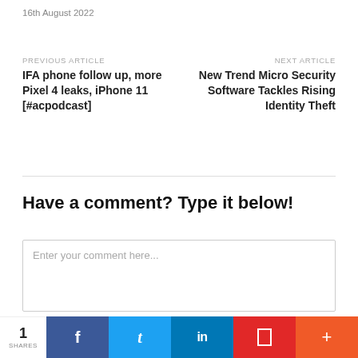16th August 2022
PREVIOUS ARTICLE
IFA phone follow up, more Pixel 4 leaks, iPhone 11 [#acpodcast]
NEXT ARTICLE
New Trend Micro Security Software Tackles Rising Identity Theft
Have a comment? Type it below!
Enter your comment here...
FOLLOW US
1 SHARES